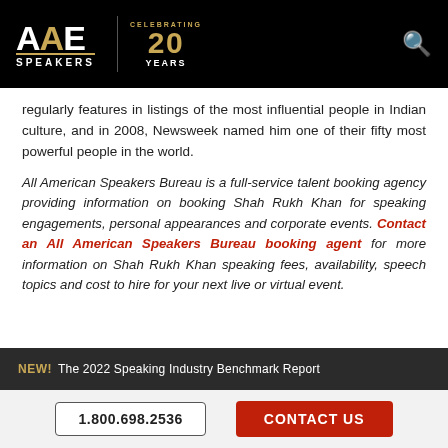AAE SPEAKERS — Celebrating 20 Years
regularly features in listings of the most influential people in Indian culture, and in 2008, Newsweek named him one of their fifty most powerful people in the world.
All American Speakers Bureau is a full-service talent booking agency providing information on booking Shah Rukh Khan for speaking engagements, personal appearances and corporate events. Contact an All American Speakers Bureau booking agent for more information on Shah Rukh Khan speaking fees, availability, speech topics and cost to hire for your next live or virtual event.
NEW! The 2022 Speaking Industry Benchmark Report
1.800.698.2536  CONTACT US